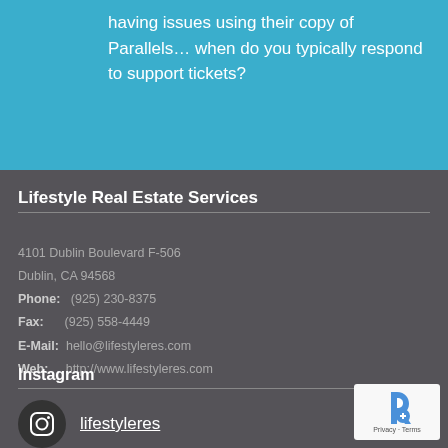having issues using their copy of Parallels… when do you typically respond to support tickets?
Lifestyle Real Estate Services
4101 Dublin Boulevard F-506
Dublin, CA 94568
Phone: (925) 230-8375
Fax: (925) 558-4449
E-Mail: hello@lifestyleres.com
Web: http://www.lifestyleres.com
Instagram
lifestyleres